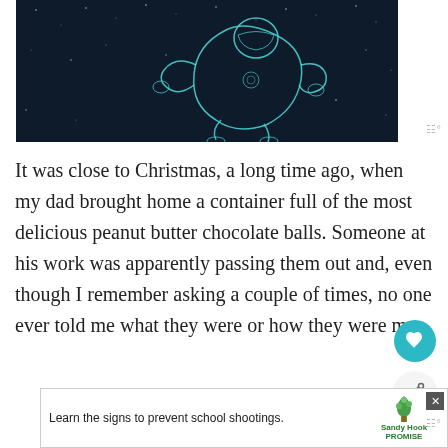[Figure (illustration): Dark space background with a line-art illustration of an astronaut floating, drawn in teal/white outline style against a starry dark blue/black background.]
It was close to Christmas, a long time ago, when my dad brought home a container full of the most delicious peanut butter chocolate balls. Someone at his work was apparently passing them out and, even though I remember asking a couple of times, no one ever told me what they were or how they were ma[de]
[Figure (infographic): Advertisement banner: 'Learn the signs to prevent school shootings.' with Sandy Hook Promise logo (green tree icon).]